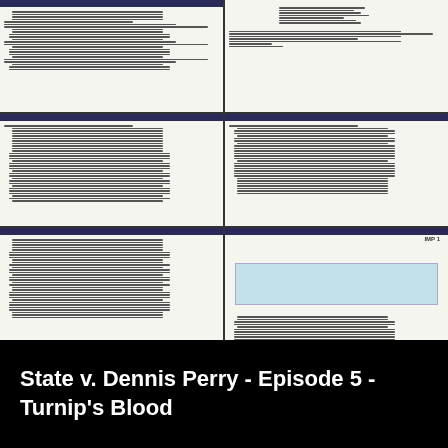[Figure (screenshot): Grid of 6 document thumbnails showing scanned legal transcript pages from State v. Dennis Perry case, arranged in 2 columns and 3 rows on black background]
State v. Dennis Perry - Episode 5 - Turnip's Blood